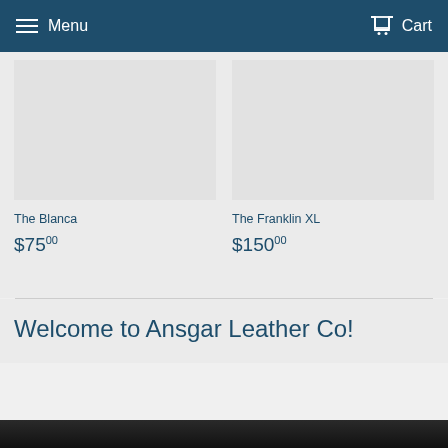Menu  Cart
The Blanca
$75.00
The Franklin XL
$150.00
Welcome to Ansgar Leather Co!
[Figure (photo): Dark image strip at the bottom of the page, partially visible]